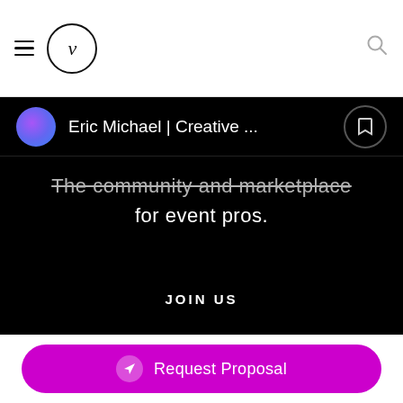[Figure (screenshot): App header bar with hamburger menu icon, circular logo with letter 'v', and search icon on the right]
Eric Michael | Creative ...
The community and marketplace for event pros.
JOIN US
LIST MY BUSINESS
SUPPORT
THE MEMO
Request Proposal